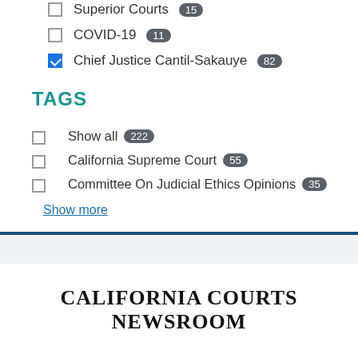Superior Courts 15
COVID-19 11
Chief Justice Cantil-Sakauye 82
TAGS
Show all 222
California Supreme Court 55
Committee On Judicial Ethics Opinions 35
Show more
CALIFORNIA COURTS NEWSROOM